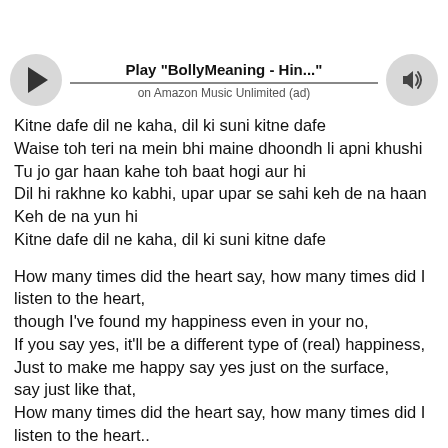[Figure (other): Music player bar with play button, title 'Play "BollyMeaning - Hin..."', subtitle 'on Amazon Music Unlimited (ad)', and volume button]
Kitne dafe dil ne kaha, dil ki suni kitne dafe
Waise toh teri na mein bhi maine dhoondh li apni khushi
Tu jo gar haan kahe toh baat hogi aur hi
Dil hi rakhne ko kabhi, upar upar se sahi keh de na haan
Keh de na yun hi
Kitne dafe dil ne kaha, dil ki suni kitne dafe
How many times did the heart say, how many times did I listen to the heart,
though I've found my happiness even in your no,
If you say yes, it'll be a different type of (real) happiness,
Just to make me happy say yes just on the surface,
say just like that,
How many times did the heart say, how many times did I listen to the heart..